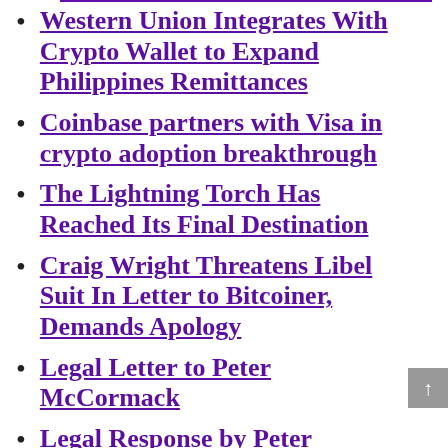Western Union Integrates With Crypto Wallet to Expand Philippines Remittances
Coinbase partners with Visa in crypto adoption breakthrough
The Lightning Torch Has Reached Its Final Destination
Craig Wright Threatens Libel Suit In Letter to Bitcoiner, Demands Apology
Legal Letter to Peter McCormack
Legal Response by Peter McCormack